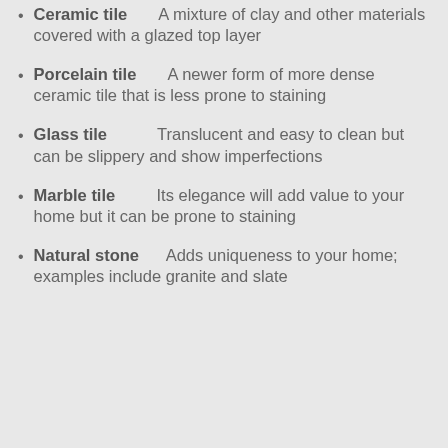Ceramic tile — A mixture of clay and other materials covered with a glazed top layer
Porcelain tile — A newer form of more dense ceramic tile that is less prone to staining
Glass tile — Translucent and easy to clean but can be slippery and show imperfections
Marble tile — Its elegance will add value to your home but it can be prone to staining
Natural stone — Adds uniqueness to your home; examples include granite and slate